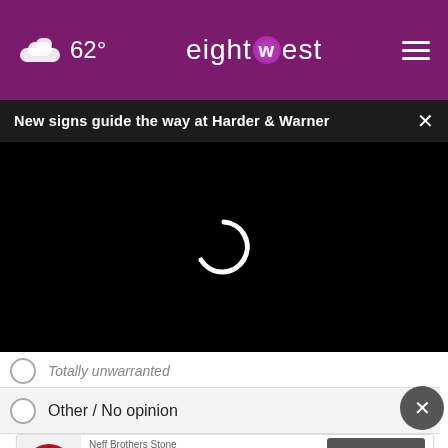62° eight west
New signs guide the way at Harder & Warner
[Figure (screenshot): Black video player area with a white loading spinner centered on the black background]
Totally unwarranted
Other / No opinion
[Figure (infographic): Advertisement for Neff Brothers Stone Landscape Material Supplier with Contact Us button]